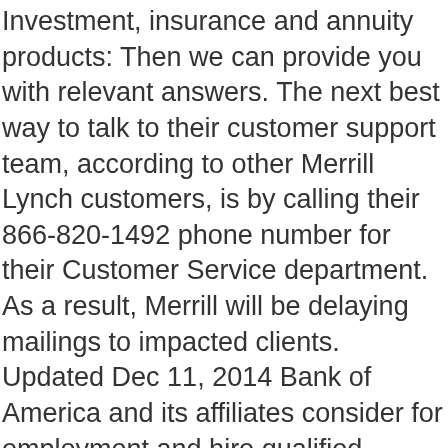Investment, insurance and annuity products: Then we can provide you with relevant answers. The next best way to talk to their customer support team, according to other Merrill Lynch customers, is by calling their 866-820-1492 phone number for their Customer Service department. As a result, Merrill will be delaying mailings to impacted clients. Updated Dec 11, 2014 Bank of America and its affiliates consider for employment and hire qualified candidates without regard to race, religious creed, religion, color, sex, sexual orientation, genetic information, gender, gender identity, gender expression, age, national origin, ancestry, citizenship, protected veteran or disability status or any factor prohibited by law, and as such affirms in policy and practice to support and promote the … If you want brokers who will go the extra mile, if you want men